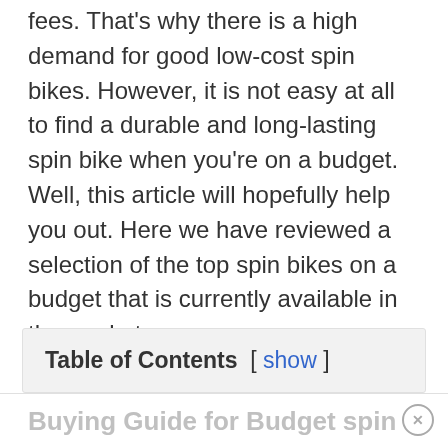fees. That's why there is a high demand for good low-cost spin bikes. However, it is not easy at all to find a durable and long-lasting spin bike when you're on a budget. Well, this article will hopefully help you out. Here we have reviewed a selection of the top spin bikes on a budget that is currently available in the market.
| Table of Contents | [ show ] |
| --- | --- |
Buying Guide for Budget spin